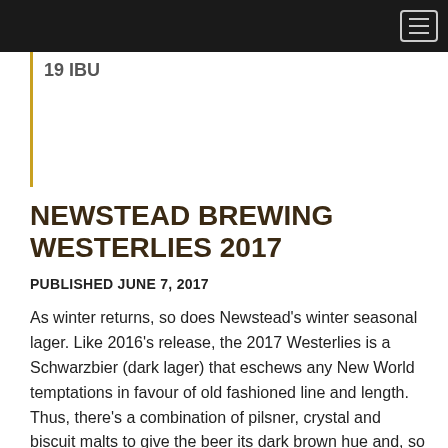19 IBU
NEWSTEAD BREWING WESTERLIES 2017
PUBLISHED JUNE 7, 2017
As winter returns, so does Newstead's winter seasonal lager. Like 2016's release, the 2017 Westerlies is a Schwarzbier (dark lager) that eschews any New World temptations in favour of old fashioned line and length. Thus, there's a combination of pilsner, crystal and biscuit malts to give the beer its dark brown hue and, so we're told, "subdued toasty flavours, hints of coffee and chocolate". On the hop front, it's an all German lineup – Magnum, Hallertau and Tettnang – that serve